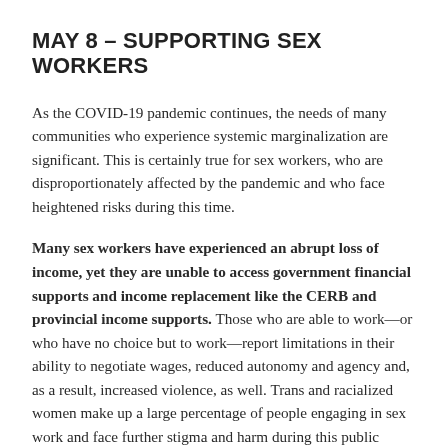MAY 8 – SUPPORTING SEX WORKERS
As the COVID-19 pandemic continues, the needs of many communities who experience systemic marginalization are significant. This is certainly true for sex workers, who are disproportionately affected by the pandemic and who face heightened risks during this time.
Many sex workers have experienced an abrupt loss of income, yet they are unable to access government financial supports and income replacement like the CERB and provincial income supports. Those who are able to work—or who have no choice but to work—report limitations in their ability to negotiate wages, reduced autonomy and agency and, as a result, increased violence, as well. Trans and racialized women make up a large percentage of people engaging in sex work and face further stigma and harm during this public health crisis.